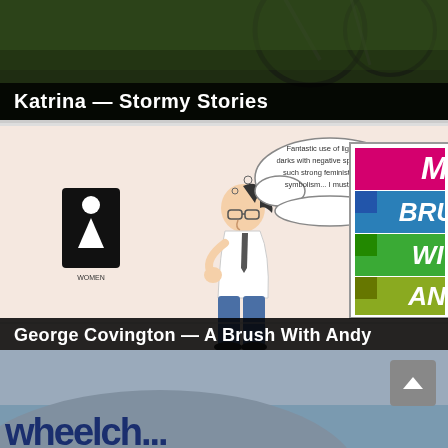[Figure (photo): Photo of bicycles against greenery background, darkened]
Katrina — Stormy Stories
[Figure (illustration): Cartoon illustration: a man with ponytail and glasses stands looking at a colorful poster titled 'My Brush With Andy' with a thought bubble reading 'Fantastic use of lights and darks with negative space... and such strong feminist & racial symbolism... I must have it!' Women's restroom sign visible on left.]
George Covington — A Brush With Andy
[Figure (photo): Partial photo showing blue-grey ocean/water with large curved shape and partial text 'wheelch...' in dark blue]
[Figure (other): Scroll-up navigation button in grey]